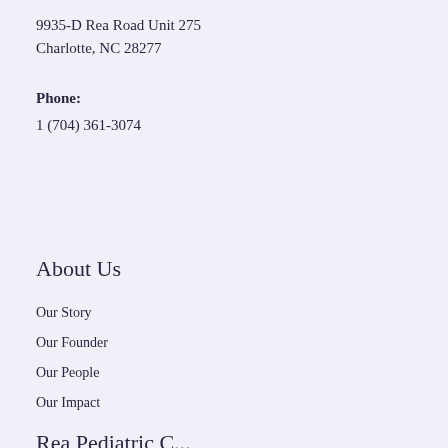9935-D Rea Road Unit 275
Charlotte, NC 28277
Phone:
1 (704) 361-3074
About Us
Our Story
Our Founder
Our People
Our Impact
Rea Road...C...